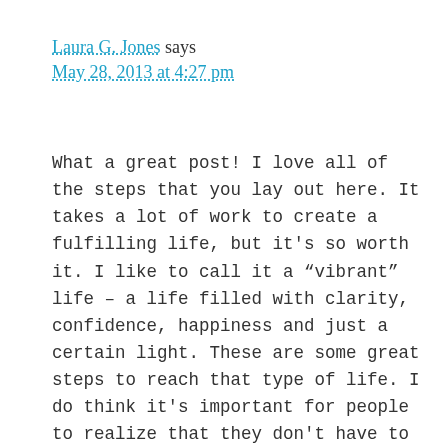Laura G. Jones says
May 28, 2013 at 4:27 pm
What a great post! I love all of the steps that you lay out here. It takes a lot of work to create a fulfilling life, but it’s so worth it. I like to call it a “vibrant” life – a life filled with clarity, confidence, happiness and just a certain light. These are some great steps to reach that type of life. I do think it’s important for people to realize that they don’t have to change anything in order to love their life – they just have to make a conscious decision that they love it. In the end, there are many changes we can make to our life, but no matter how much it gets